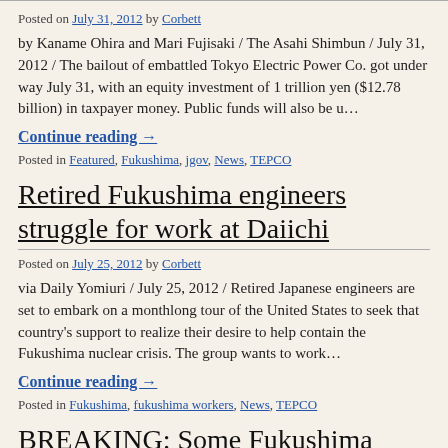Posted on July 31, 2012 by Corbett
by Kaname Ohira and Mari Fujisaki / The Asahi Shimbun / July 31, 2012 / The bailout of embattled Tokyo Electric Power Co. got under way July 31, with an equity investment of 1 trillion yen ($12.78 billion) in taxpayer money. Public funds will also be u…
Continue reading →
Posted in Featured, Fukushima, jgov, News, TEPCO
Retired Fukushima engineers struggle for work at Daiichi
Posted on July 25, 2012 by Corbett
via Daily Yomiuri / July 25, 2012 / Retired Japanese engineers are set to embark on a monthlong tour of the United States to seek that country's support to realize their desire to help contain the Fukushima nuclear crisis. The group wants to work…
Continue reading →
Posted in Fukushima, fukushima workers, News, TEPCO
BREAKING: Some Fukushima workers may